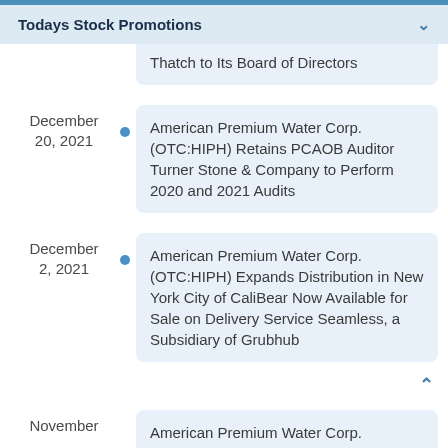Todays Stock Promotions
Thatch to Its Board of Directors
December 20, 2021 — American Premium Water Corp. (OTC:HIPH) Retains PCAOB Auditor Turner Stone & Company to Perform 2020 and 2021 Audits
December 2, 2021 — American Premium Water Corp. (OTC:HIPH) Expands Distribution in New York City of CaliBear Now Available for Sale on Delivery Service Seamless, a Subsidiary of Grubhub
November — American Premium Water Corp.